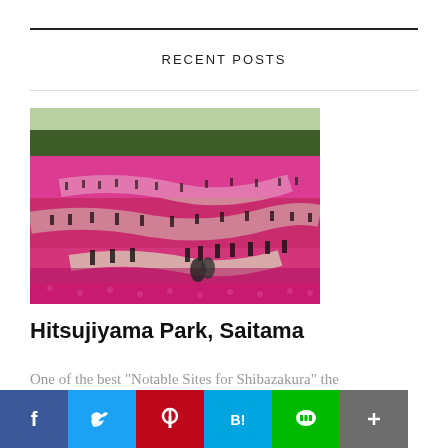RECENT POSTS
[Figure (photo): Aerial view of Hitsujiyama Park in Saitama showing vivid pink and magenta Shibazakura (moss phlox) flowers covering rolling hills with winding paths and visitors walking through]
Hitsujiyama Park, Saitama
One of the best "Notable Sites for Shibazakura" the Kanto region Shibazakura... [Read More...]